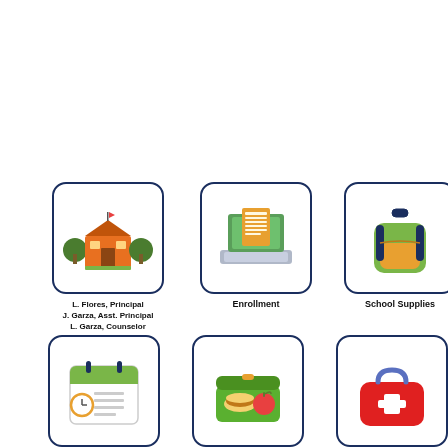[Figure (illustration): School building icon with orange and green colors inside a rounded rectangle card]
L. Flores, Principal
J. Garza, Asst. Principal
L. Garza, Counselor
[Figure (illustration): Laptop with document/paper on screen icon inside a rounded rectangle card]
Enrollment
[Figure (illustration): Green backpack with orange pocket and navy straps icon inside a rounded rectangle card]
School Supplies
[Figure (illustration): Calendar with clock icon inside a rounded rectangle card]
District Calendar
[Figure (illustration): Green lunch box with sandwich and apple icon inside a rounded rectangle card]
[Figure (illustration): Red medical bag with cross symbol icon inside a rounded rectangle card]